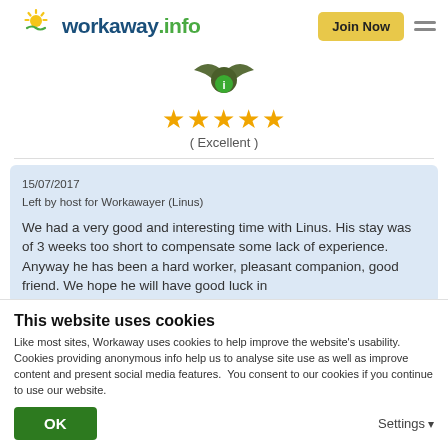workaway.info | Join Now
[Figure (logo): Workaway.info logo with sun icon]
[Figure (illustration): User avatar bat/wings icon with green info badge]
(Excellent)
15/07/2017
Left by host for Workawayer (Linus)
We had a very good and interesting time with Linus. His stay was of 3 weeks too short to compensate some lack of experience. Anyway he has been a hard worker, pleasant companion, good friend. We hope he will have good luck in
This website uses cookies
Like most sites, Workaway uses cookies to help improve the website's usability. Cookies providing anonymous info help us to analyse site use as well as improve content and present social media features.  You consent to our cookies if you continue to use our website.
OK
Settings